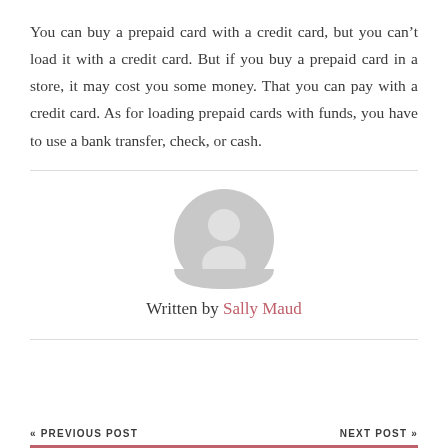You can buy a prepaid card with a credit card, but you can't load it with a credit card. But if you buy a prepaid card in a store, it may cost you some money. That you can pay with a credit card. As for loading prepaid cards with funds, you have to use a bank transfer, check, or cash.
[Figure (illustration): Generic user avatar icon — a grey circle with a silhouette of a person (head and shoulders) in lighter grey]
Written by Sally Maud
« PREVIOUS POST    NEXT POST »